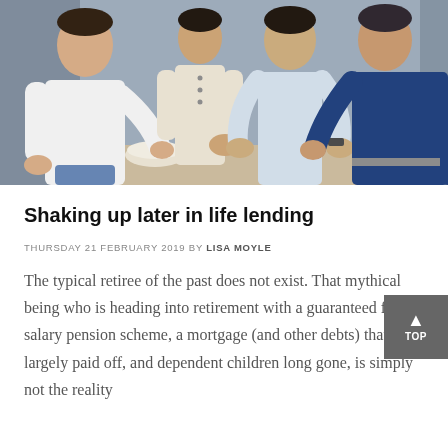[Figure (photo): Family group photo showing multiple people of different ages gathered together, some in white and blue clothing, appearing to interact around a table]
Shaking up later in life lending
THURSDAY 21 FEBRUARY 2019 BY LISA MOYLE
The typical retiree of the past does not exist. That mythical being who is heading into retirement with a guaranteed final salary pension scheme, a mortgage (and other debts) that is largely paid off, and dependent children long gone, is simply not the reality